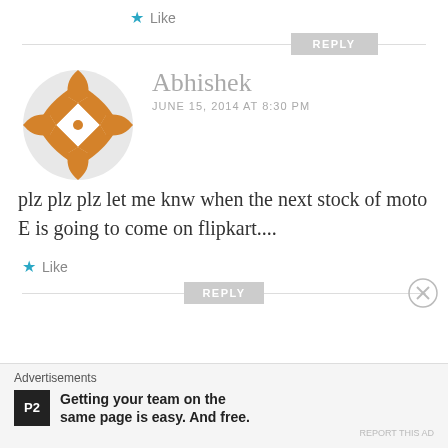★ Like
[Figure (other): REPLY button with horizontal rule]
[Figure (illustration): Abhishek user avatar - orange geometric pinwheel pattern on circular background]
Abhishek
JUNE 15, 2014 AT 8:30 PM
plz plz plz let me knw when the next stock of moto E is going to come on flipkart....
★ Like
[Figure (other): REPLY button with horizontal rule]
Advertisements
P2  Getting your team on the same page is easy. And free.